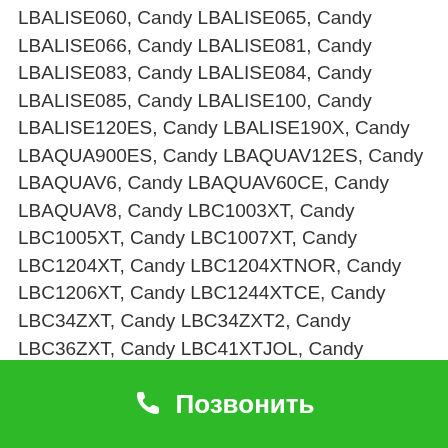LBALISE060, Candy LBALISE065, Candy LBALISE066, Candy LBALISE081, Candy LBALISE083, Candy LBALISE084, Candy LBALISE085, Candy LBALISE100, Candy LBALISE120ES, Candy LBALISE190X, Candy LBAQUA900ES, Candy LBAQUAV12ES, Candy LBAQUAV6, Candy LBAQUAV60CE, Candy LBAQUAV8, Candy LBC1003XT, Candy LBC1005XT, Candy LBC1007XT, Candy LBC1204XT, Candy LBC1204XTNOR, Candy LBC1206XT, Candy LBC1244XTCE, Candy LBC34ZXT, Candy LBC34ZXT2, Candy LBC36ZXT, Candy LBC41XTJOL, Candy LBC463X, Candy LBC467Xl, Candy LBC825XTURCH, Candy LBC905XT, Candy LBCE461XT, Candy LBCE462XTHC, Candy LBCE637XT, Candy LBCG444XT, Candy LBCG484XTHC, Candy LBCG654XT, Candy LBCGAQ665XT, Candy LBCHIA540XTR, Candy LBCHIA55XTR, Candy LBCHIA652XTR, Candy LBCHIA65XTR, Candy LBCHIARA46XT, Candy LBCHIARA4XT, Candy
Позвонить